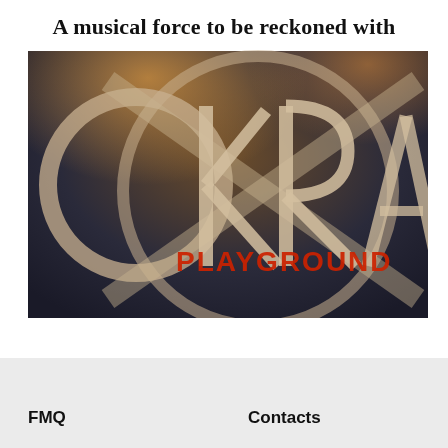A musical force to be reckoned with
[Figure (logo): OKRA Playground band logo — dark background with large circular and X-shaped graphic design, letters O, K, R, A in weathered white/cream style, 'PLAYGROUND' text in red and orange below center]
FMQ
Contacts